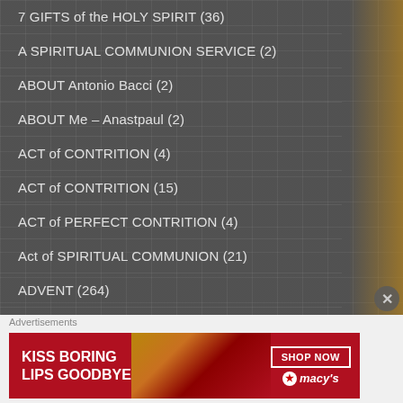7 GIFTS of the HOLY SPIRIT (36)
A SPIRITUAL COMMUNION SERVICE (2)
ABOUT Antonio Bacci (2)
ABOUT Me – Anastpaul (2)
ACT of CONTRITION (4)
ACT of CONTRITION (15)
ACT of PERFECT CONTRITION (4)
Act of SPIRITUAL COMMUNION (21)
ADVENT (264)
ADVENT PRAYERS (66)
ADVENT QUOTES (53)
Advertisements
[Figure (infographic): Macy's advertisement: red banner with 'KISS BORING LIPS GOODBYE' text, woman's face with red lips, 'SHOP NOW' button and Macy's star logo]